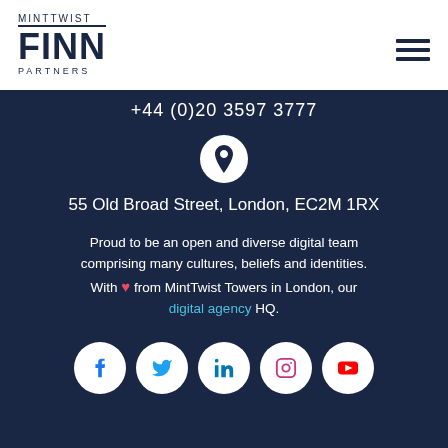[Figure (logo): MintTwist Finn Partners logo with FINN in bold large letters, MINTTWIST above and PARTNERS below, with a horizontal rule]
[Figure (infographic): Hamburger menu icon (three horizontal lines) in top right corner]
+44 (0)20 3597 3777
[Figure (illustration): White circle with location pin icon inside]
55 Old Broad Street, London, EC2M 1RX
Proud to be an open and diverse digital team comprising many cultures, beliefs and identities. With ❤ from MintTwist Towers in London, our digital agency HQ.
[Figure (infographic): Row of five white social media icon circles: Facebook, Twitter, LinkedIn, Instagram, YouTube]